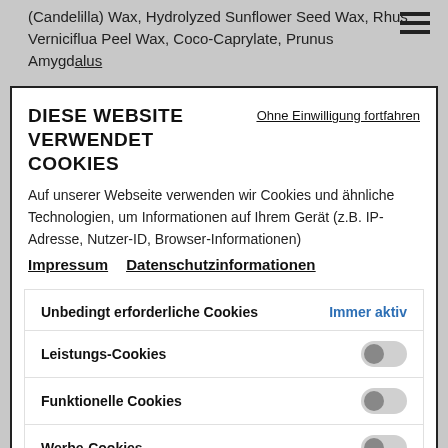(Candelilla) Wax, Hydrolyzed Sunflower Seed Wax, Rhus Verniciflua Peel Wax, Coco-Caprylate, Prunus Amygdalus
DIESE WEBSITE VERWENDET COOKIES
Ohne Einwilligung fortfahren
Auf unserer Webseite verwenden wir Cookies und ähnliche Technologien, um Informationen auf Ihrem Gerät (z.B. IP-Adresse, Nutzer-ID, Browser-Informationen)
Impressum   Datenschutzinformationen
Unbedingt erforderliche Cookies — Immer aktiv
Leistungs-Cookies
Funktionelle Cookies
Werbe-Cookies
Social-Media-Cookies